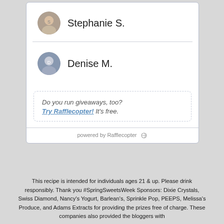[Figure (illustration): Circular avatar photo of Stephanie S.]
Stephanie S.
[Figure (illustration): Circular avatar photo of Denise M.]
Denise M.
Do you run giveaways, too? Try Rafflecopter! It's free.
powered by Rafflecopter
This recipe is intended for individuals ages 21 & up. Please drink responsibly. Thank you #SpringSweetsWeek Sponsors: Dixie Crystals, Swiss Diamond, Nancy's Yogurt, Barlean's, Sprinkle Pop, PEEPS, Melissa's Produce, and Adams Extracts for providing the prizes free of charge. These companies also provided the bloggers with